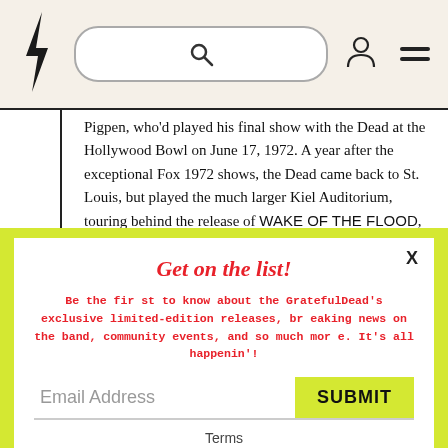[Figure (logo): Grateful Dead lightning bolt logo (stylized bolt)]
Pigpen, who'd played his final show with the Dead at the Hollywood Bowl on June 17, 1972. A year after the exceptional Fox 1972 shows, the Dead came back to St. Louis, but played the much larger Kiel Auditorium, touring behind the release of WAKE OF THE FLOOD, which came out just two weeks before.
Get on the list!
Be the first to know about the GratefulDead's exclusive limited-edition releases, breaking news on the band, community events, and so much more. It's all happenin'!
Email Address
SUBMIT
Terms